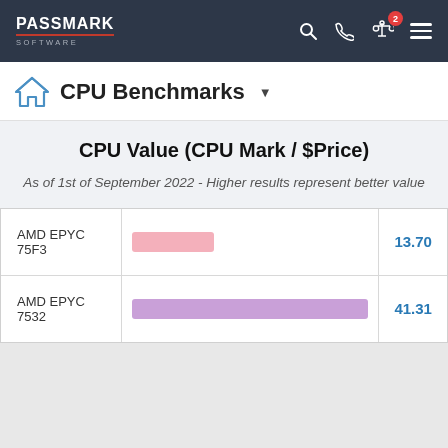PassMark Software
CPU Benchmarks
CPU Value (CPU Mark / $Price)
As of 1st of September 2022 - Higher results represent better value
[Figure (bar-chart): CPU Value (CPU Mark / $Price)]